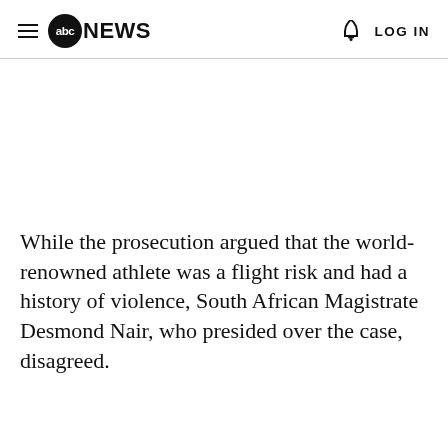abc NEWS  LOG IN
While the prosecution argued that the world-renowned athlete was a flight risk and had a history of violence, South African Magistrate Desmond Nair, who presided over the case, disagreed.